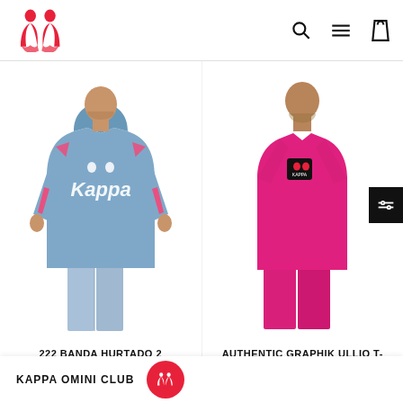[Figure (logo): Kappa brand logo in red]
[Figure (photo): Male model wearing light blue Kappa hoodie with pink side stripes and matching pants, large Kappa logo on chest]
[Figure (photo): Male model wearing pink Kappa t-shirt with small logo patch on chest and pink shorts]
222 BANDA HURTADO 2
AUTHENTIC GRAPHIK ULLIO T-SHIRT - PINK BLACK
KAPPA OMINI CLUB